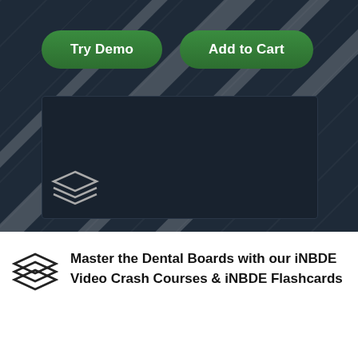[Figure (screenshot): Dark navy background with diagonal light streaks forming a textured background for the top section of an educational app or website]
Try Demo
Add to Cart
[Figure (screenshot): Dark video player placeholder box on navy background with a stacked layers icon in the bottom left corner]
Master the Dental Boards with our iNBDE Video Crash Courses & iNBDE Flashcards